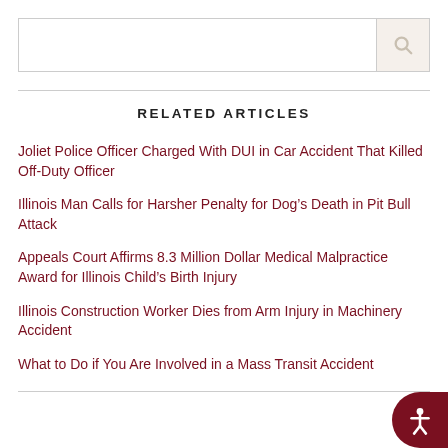[Figure (screenshot): Search input box with search icon button on right]
RELATED ARTICLES
Joliet Police Officer Charged With DUI in Car Accident That Killed Off-Duty Officer
Illinois Man Calls for Harsher Penalty for Dog’s Death in Pit Bull Attack
Appeals Court Affirms 8.3 Million Dollar Medical Malpractice Award for Illinois Child’s Birth Injury
Illinois Construction Worker Dies from Arm Injury in Machinery Accident
What to Do if You Are Involved in a Mass Transit Accident